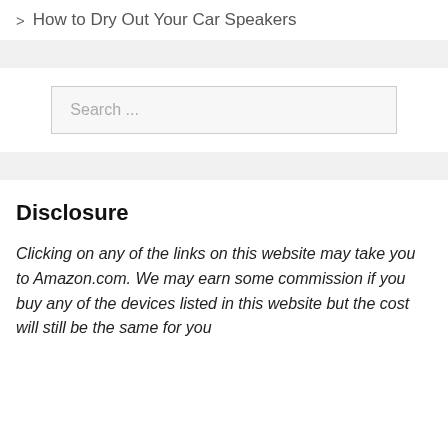> How to Dry Out Your Car Speakers
Search ...
Disclosure
Clicking on any of the links on this website may take you to Amazon.com. We may earn some commission if you buy any of the devices listed in this website but the cost will still be the same for you